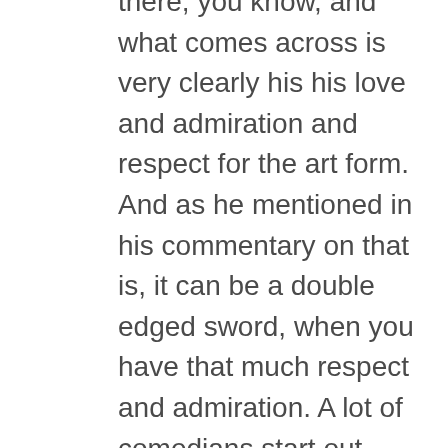there, you know, and what comes across is very clearly his his love and admiration and respect for the art form. And as he mentioned in his commentary on that is, it can be a double edged sword, when you have that much respect and admiration. A lot of comedians start out basically imitating their heroes. And so with that being lost on the younger generation, to some degree, we do have a lot more original voices and people who are able, because they don't have that influence, to really take things in a very unique and new direction. So I just love to hear your thoughts on it. Please write to me at info at my bookkeeping. I can't tell you who's on the next program because this is pre taped, folks. So I don't know when exactly this is going to hit next at this point.